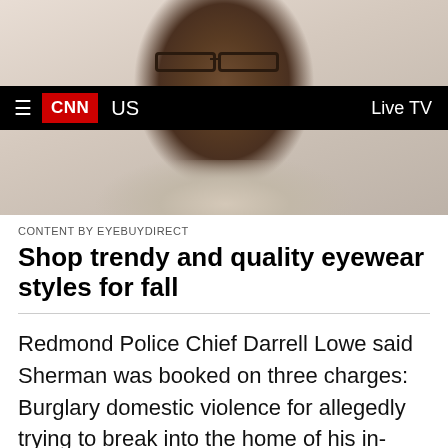[Figure (photo): Man wearing glasses and a light beige jacket, smiling, shown from chest up against a light background. CNN navigation bar overlays the middle of the photo with hamburger menu icon, CNN red logo, 'US' text, and 'Live TV' on the right.]
CONTENT BY EYEBUYDIRECT
Shop trendy and quality eyewear styles for fall
Redmond Police Chief Darrell Lowe said Sherman was booked on three charges: Burglary domestic violence for allegedly trying to break into the home of his in-laws, resisting arrest and malicious